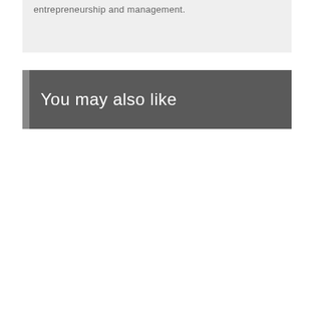entrepreneurship and management.
You may also like